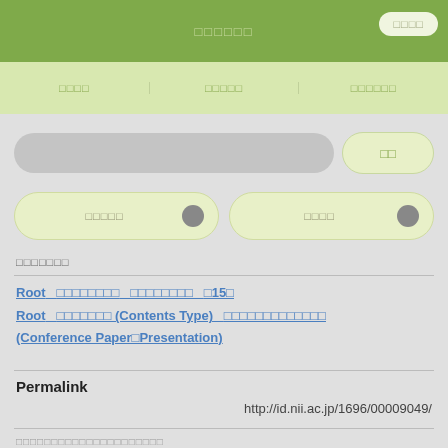□□□□□□
□□□□   □□□□□   □□□□□□
□□
□□□□□□   ●   □□□   ●
□□□□□□□
Root  □□□□□□□□  □□□□□□□□  □15□
Root  □□□□□□□□ (Contents Type)  □□□□□□□□□□□□□
(Conference Paper□Presentation)
Permalink
http://id.nii.ac.jp/1696/00009049/
□□□□□□□□□□□□□□□□□□□□□